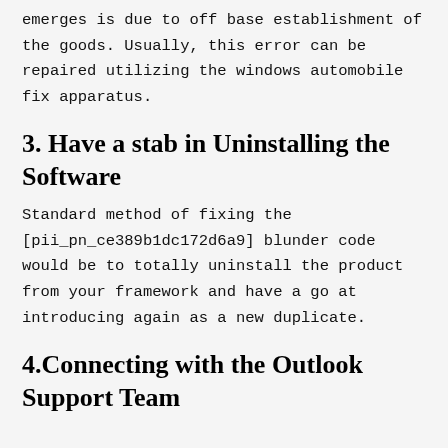emerges is due to off base establishment of the goods. Usually, this error can be repaired utilizing the windows automobile fix apparatus.
3. Have a stab in Uninstalling the Software
Standard method of fixing the [pii_pn_ce389b1dc172d6a9] blunder code would be to totally uninstall the product from your framework and have a go at introducing again as a new duplicate.
4.Connecting with the Outlook Support Team